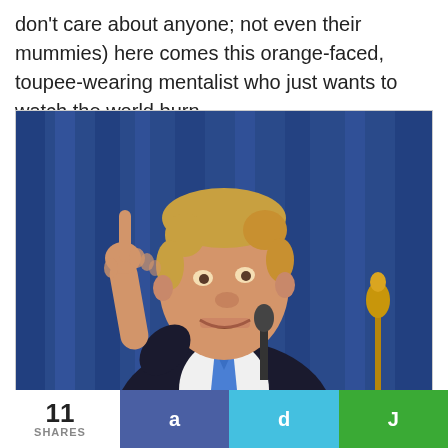don't care about anyone; not even their mummies) here comes this orange-faced, toupee-wearing mentalist who just wants to watch the world burn.
[Figure (photo): A man in a dark suit with a blue tie pointing one finger upward, standing in front of blue curtains with microphones nearby.]
11 SHARES
a
d
J